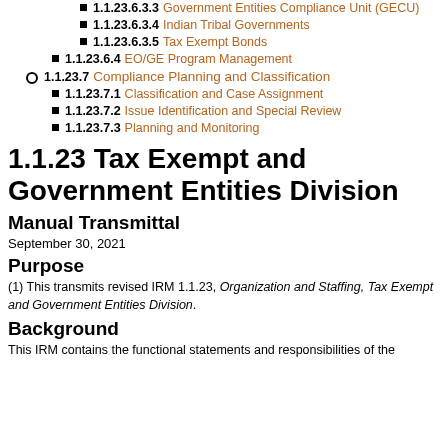1.1.23.6.3.3 Government Entities Compliance Unit (GECU)
1.1.23.6.3.4 Indian Tribal Governments
1.1.23.6.3.5 Tax Exempt Bonds
1.1.23.6.4 EO/GE Program Management
1.1.23.7 Compliance Planning and Classification
1.1.23.7.1 Classification and Case Assignment
1.1.23.7.2 Issue Identification and Special Review
1.1.23.7.3 Planning and Monitoring
1.1.23 Tax Exempt and Government Entities Division
Manual Transmittal
September 30, 2021
Purpose
(1) This transmits revised IRM 1.1.23, Organization and Staffing, Tax Exempt and Government Entities Division.
Background
This IRM contains the functional statements and responsibilities of the